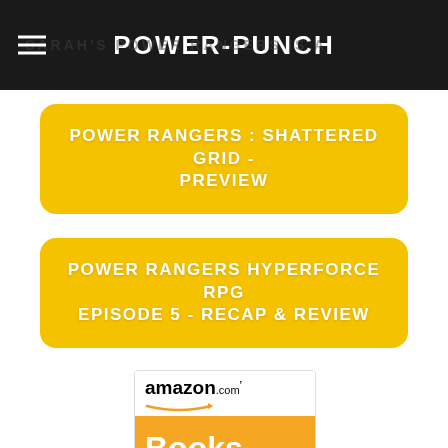POWER-PUNCH
POWER RANGERS : SHATTERED GRID - PREVIEW
POWER RANGERS HYPERFORCE RPG EPISODE 5 - RECAP & REVIEW
[Figure (logo): Amazon.com Books logo with orange background]